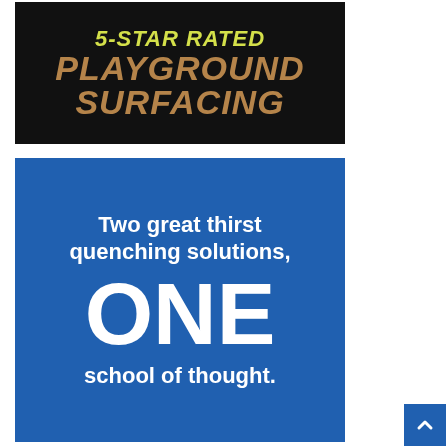[Figure (illustration): Black background advertisement banner reading '5-STAR RATED' in yellow italic text above 'PLAYGROUND SURFACING' in large brown/tan textured bold italic letters]
[Figure (illustration): Blue background advertisement banner reading 'Two great thirst quenching solutions, ONE school of thought.' in white bold text with ONE in very large letters]